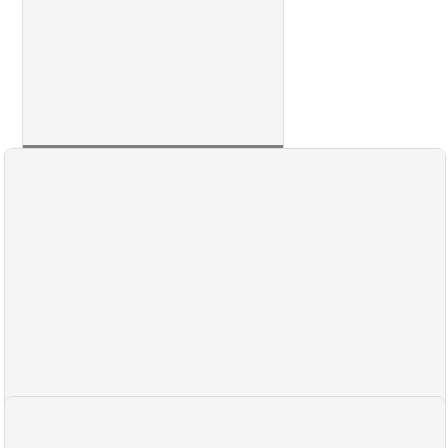[Figure (screenshot): Card thumbnail image for 'Building a Pinball Machine', partially visible at top of page]
Building a Pinball Machine
[Figure (screenshot): Large card thumbnail image for 'PlayStation Account Was Banned For No Reason? (Can Anything...' article, mostly white/blank]
PlayStation Account Was Banned For No Reason? (Can Anything...
[Figure (screenshot): Partial card at bottom of page, image content not visible]